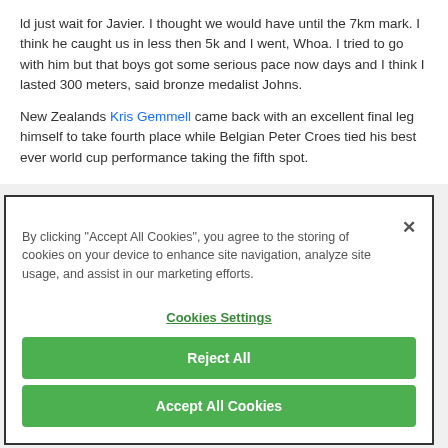ld just wait for Javier.  I thought we would have until the 7km mark.  I think he caught us in less then 5k and I went, Whoa.  I tried to go with him but that boys got some serious pace now days and I think I lasted 300 meters, said bronze medalist Johns.
New Zealands Kris Gemmell came back with an excellent final leg himself to take fourth place while Belgian Peter Croes tied his best ever world cup performance taking the fifth spot.
By clicking "Accept All Cookies", you agree to the storing of cookies on your device to enhance site navigation, analyze site usage, and assist in our marketing efforts.
Cookies Settings
Reject All
Accept All Cookies